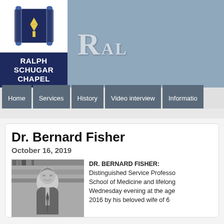[Figure (logo): Ralph Schugar Chapel logo with Torah scroll icon and dark navy text block]
[Figure (illustration): Banner header with text 'RAL' visible in large serif font on steel-blue background]
Home | Services | History | Video interview | Information
Dr. Bernard Fisher
October 16, 2019
[Figure (photo): Black and white photograph of Dr. Bernard Fisher, an older man in front of bookshelves]
DR. BERNARD FISHER: Distinguished Service Professor School of Medicine and lifelong Wednesday evening at the age 2016 by his beloved wife of 6...